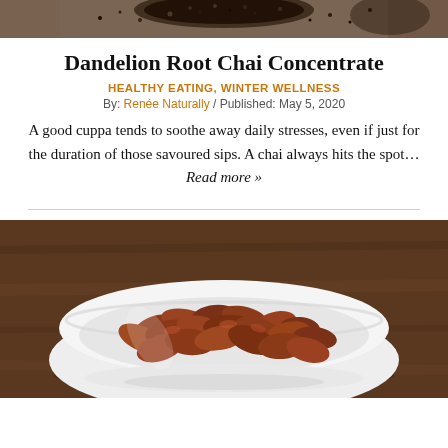[Figure (photo): Top portion of a photo showing spices/seeds in a bowl on a wooden or dark surface, cropped to just the top strip]
Dandelion Root Chai Concentrate
HEALTHY EATING, WINTER WELLNESS
By: Renée Naturally / Published: May 5, 2020
A good cuppa tends to soothe away daily stresses, even if just for the duration of those savoured sips. A chai always hits the spot… Read more »
[Figure (photo): Photo of a white bowl filled with almonds, placed on a wooden table surface]